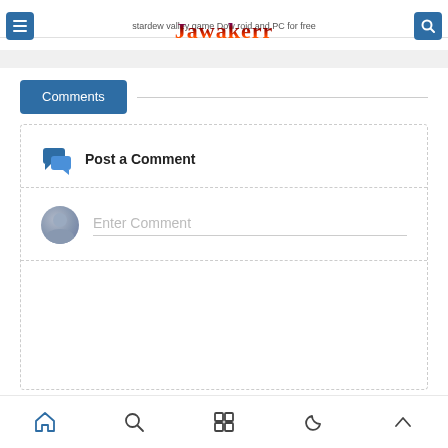Jawakerr — stardew valley game Download for Android and PC for free
Comments
Post a Comment
Enter Comment
Home Search Grid Dark Mode Up